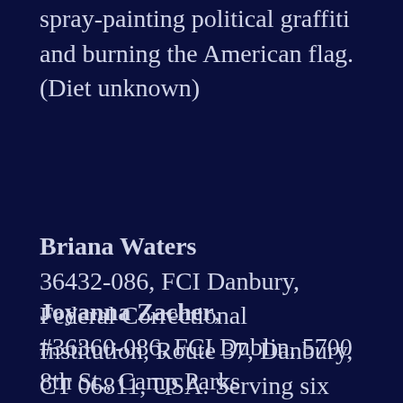spray-painting political graffiti and burning the American flag. (Diet unknown)
Briana Waters 36432-086, FCI Danbury, Federal Correctional Institution, Route 37, Danbury, CT 06811, USA. Serving six years for involvement in an ELF arson on a University. (Diet unknown).
Joyanna Zacher, #36360-086, FCI Dublin, 5700 8th St., Camp Parks